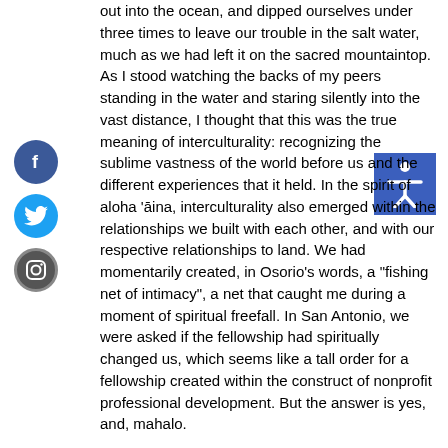out into the ocean, and dipped ourselves under three times to leave our trouble in the salt water, much as we had left it on the sacred mountaintop. As I stood watching the backs of my peers standing in the water and staring silently into the vast distance, I thought that this was the true meaning of interculturality: recognizing the sublime vastness of the world before us and the different experiences that it held. In the spirit of aloha 'āina, interculturality also emerged within the relationships we built with each other, and with our respective relationships to land. We had momentarily created, in Osorio's words, a "fishing net of intimacy", a net that caught me during a moment of spiritual freefall. In San Antonio, we were asked if the fellowship had spiritually changed us, which seems like a tall order for a fellowship created within the construct of nonprofit professional development. But the answer is yes, and, mahalo.
[Figure (other): Facebook social media icon — blue circle with white 'f' letter]
[Figure (other): Twitter social media icon — blue circle with white bird logo]
[Figure (other): Instagram social media icon — gray circle with camera outline]
[Figure (other): Accessibility button — blue square with white human figure icon with arms extended]